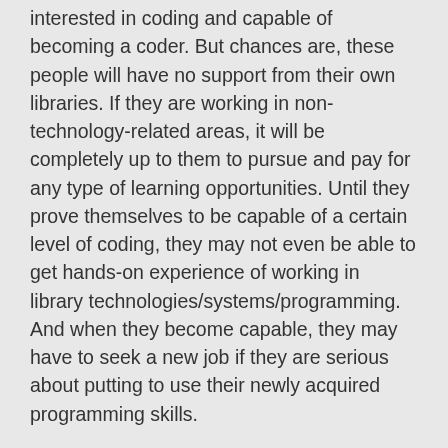interested in coding and capable of becoming a coder. But chances are, these people will have no support from their own libraries. If they are working in non-technology-related areas, it will be completely up to them to pursue and pay for any type of learning opportunities. Until they prove themselves to be capable of a certain level of coding, they may not even be able to get hands-on experience of working in library technologies/systems/programming. And when they become capable, they may have to seek a new job if they are serious about putting to use their newly acquired programming skills.
It is puzzling to me why libraries neglect to make conscious efforts in supporting their staff who are interested in coding to further develop their skills while freely admitting that they would benefit from having a programmer on staff. Perhaps it is